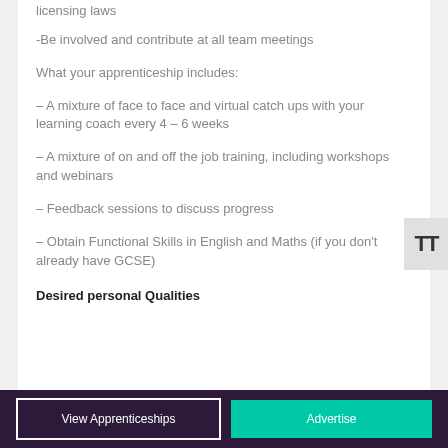licensing laws
-Be involved and contribute at all team meetings
What your apprenticeship includes:
– A mixture of face to face and virtual catch ups with your learning coach every 4 – 6 weeks
– A mixture of on and off the job training, including workshops and webinars
– Feedback sessions to discuss progress
– Obtain Functional Skills in English and Maths (if you don't already have GCSE)
Desired personal Qualities
View Apprenticeships | Advertise